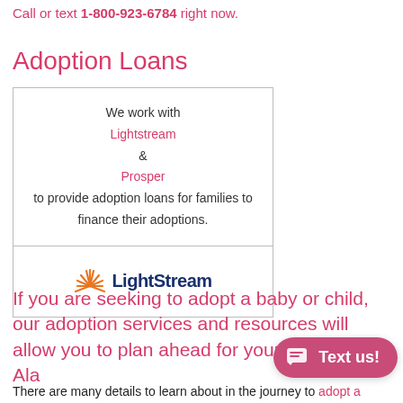Call or text 1-800-923-6784 right now.
Adoption Loans
| We work with
Lightstream
&
Prosper
to provide adoption loans for families to finance their adoptions. |
| [LightStream logo] |
If you are seeking to adopt a baby or child, our adoption services and resources will allow you to plan ahead for your adoption in Ala...
There are many details to learn about in the journey to adopt a...